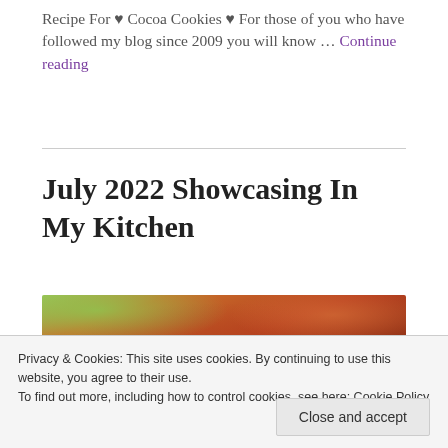Recipe For ♥ Cocoa Cookies ♥ For those of you who have followed my blog since 2009 you will know … Continue reading
July 2022 Showcasing In My Kitchen
[Figure (photo): Photo of food — appears to be a meat or protein dish with greens and sauce on a plate]
Privacy & Cookies: This site uses cookies. By continuing to use this website, you agree to their use. To find out more, including how to control cookies, see here: Cookie Policy
Close and accept